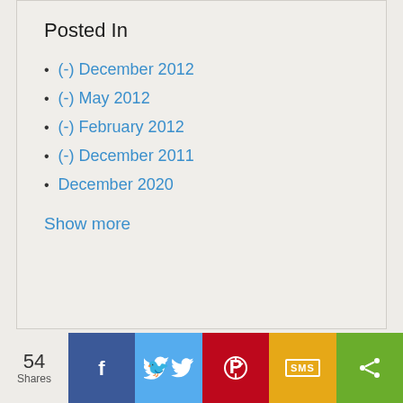Posted In
(-) December 2012
(-) May 2012
(-) February 2012
(-) December 2011
December 2020
Show more
54 Shares — Facebook, Twitter, Pinterest, SMS, Share buttons